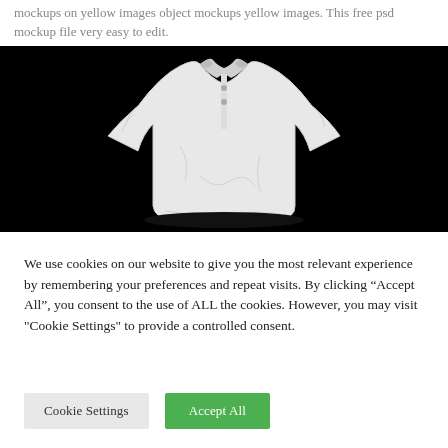mockups on yellow images object mockups yellow images. This free psd mockup file very easy to edit.
[Figure (photo): A white polo shirt displayed against a black background, shown from the front with short sleeves.]
We use cookies on our website to give you the most relevant experience by remembering your preferences and repeat visits. By clicking “Accept All”, you consent to the use of ALL the cookies. However, you may visit "Cookie Settings" to provide a controlled consent.
Cookie Settings    Accept All